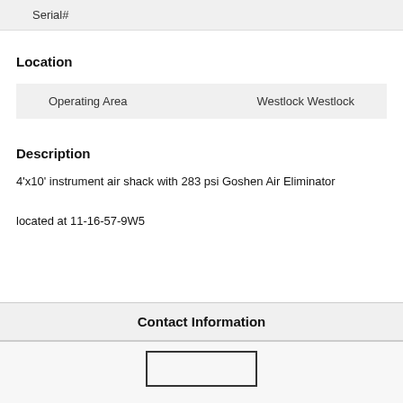| Serial# |
| --- |
Location
| Operating Area | Westlock Westlock |
| --- | --- |
Description
4'x10' instrument air shack with 283 psi Goshen Air Eliminator located at 11-16-57-9W5
Contact Information